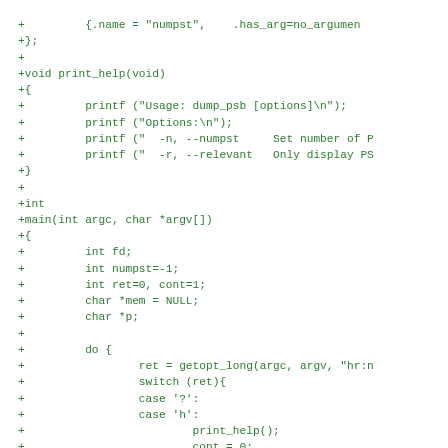[Figure (screenshot): Source code diff showing C code additions: struct definition, print_help function, and main function with variable declarations and a do-while loop using getopt_long.]